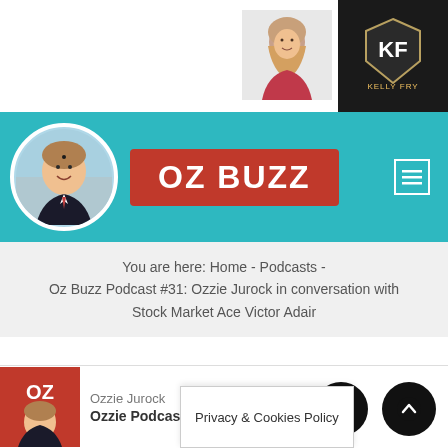[Figure (photo): Woman photo top center and Kelly Fry dark logo top right]
[Figure (logo): Oz Buzz teal header with circular avatar of Ozzie Jurock and red OZ BUZZ badge, plus menu icon on right]
You are here: Home - Podcasts - Oz Buzz Podcast #31: Ozzie Jurock in conversation with Stock Market Ace Victor Adair
Oz Buzz Podcast #31: Ozzie
Ozzie Jurock
Ozzie Podcast
Privacy & Cookies Policy